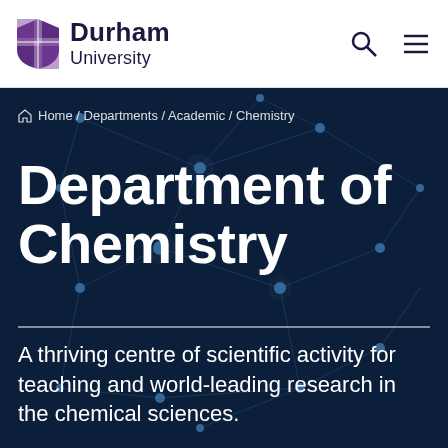Durham University
Home / Departments / Academic / Chemistry
Department of Chemistry
A thriving centre of scientific activity for teaching and world-leading research in the chemical sciences.